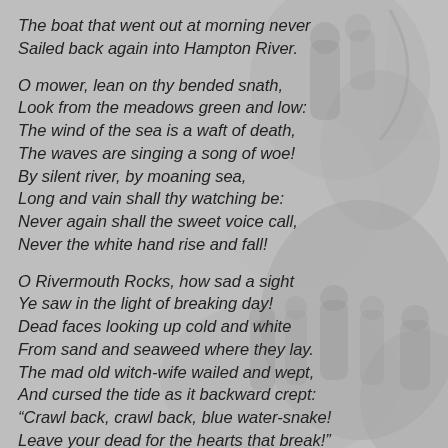[Figure (photo): Faded grayscale background photograph showing people and what appears to be outdoor scene, used as watermark/background behind poem text.]
The boat that went out at morning never
Sailed back again into Hampton River.

O mower, lean on thy bended snath,
  Look from the meadows green and low:
The wind of the sea is a waft of death,
  The waves are singing a song of woe!
By silent river, by moaning sea,
Long and vain shall thy watching be:
Never again shall the sweet voice call,
Never the white hand rise and fall!

O Rivermouth Rocks, how sad a sight
  Ye saw in the light of breaking day!
Dead faces looking up cold and white
  From sand and seaweed where they lay.
The mad old witch-wife wailed and wept,
And cursed the tide as it backward crept:
“Crawl back, crawl back, blue water-snake!
Leave your dead for the hearts that break!”

Solemn it was in that old day